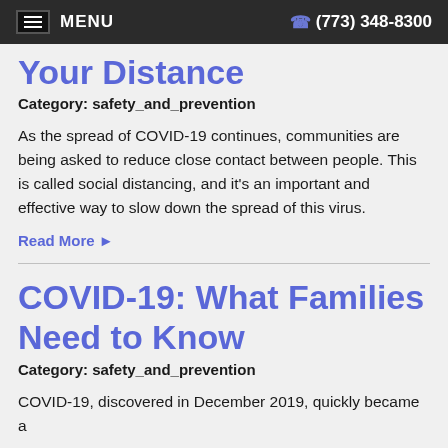MENU  (773) 348-8300
Your Distance
Category: safety_and_prevention
As the spread of COVID-19 continues, communities are being asked to reduce close contact between people. This is called social distancing, and it's an important and effective way to slow down the spread of this virus.
Read More ▶
COVID-19: What Families Need to Know
Category: safety_and_prevention
COVID-19, discovered in December 2019, quickly became a